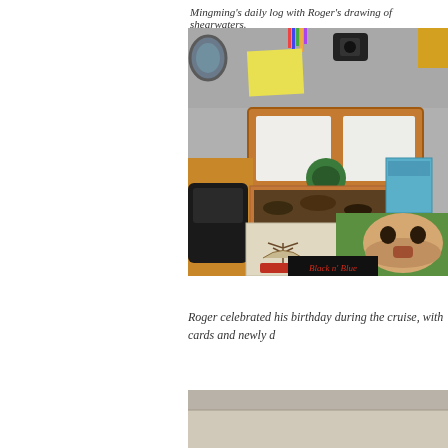Mingming's daily log with Roger's drawing of shearwaters.
[Figure (photo): Interior photograph of a boat cabin showing a wooden log holder, postcards, birthday cards including a bulldog card, handwritten notes, and various items on a chart table.]
Roger celebrated his birthday during the cruise, with cards and newly d
[Figure (photo): Partial view of another photograph, bottom of page.]